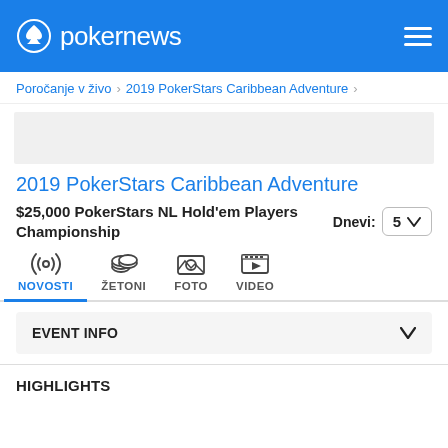pokernews
Poročanje v živo > 2019 PokerStars Caribbean Adventure >
2019 PokerStars Caribbean Adventure
$25,000 PokerStars NL Hold'em Players Championship  Dnevi: 5
[Figure (screenshot): Navigation tabs: NOVOSTI (active, with radio wave icon), ŽETONI (chips icon), FOTO (image icon), VIDEO (play button icon)]
EVENT INFO
HIGHLIGHTS